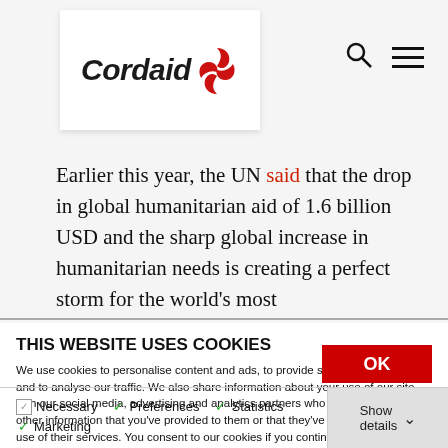[Figure (logo): Cordaid logo with red pinwheel icon, inside white box]
Earlier this year, the UN said that the drop in global humanitarian aid of 1.6 billion USD and the sharp global increase in humanitarian needs is creating a perfect storm for the world's most
THIS WEBSITE USES COOKIES
We use cookies to personalise content and ads, to provide social media features and to analyse our traffic. We also share information about your use of our site with our social media, advertising and analytics partners who may combine it with other information that you've provided to them or that they've collected from your use of their services. You consent to our cookies if you continue to use our website.
OK
Necessary  Preferences  Statistics  Marketing  Show details